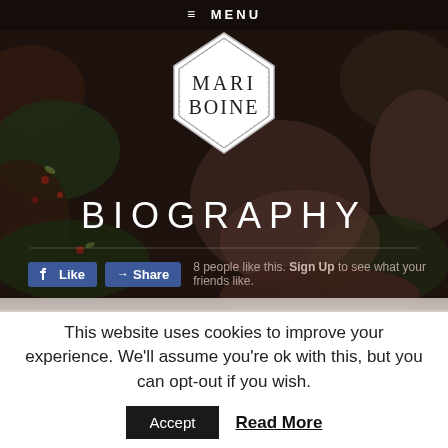≡ MENU
[Figure (logo): Mari Boine pentagon-shaped logo with white background and decorative border]
BIOGRAPHY
[Figure (screenshot): Facebook Like and Share buttons with text: 8 people like this. Sign Up to see what your friends like.]
This website uses cookies to improve your experience. We'll assume you're ok with this, but you can opt-out if you wish.
Accept  Read More